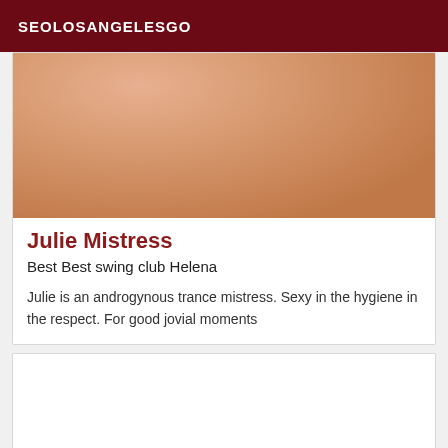SEOLOSANGELESGO
[Figure (photo): Close-up skin tone photo used as card image]
Julie Mistress
Best Best swing club Helena
Julie is an androgynous trance mistress. Sexy in the hygiene in the respect. For good jovial moments